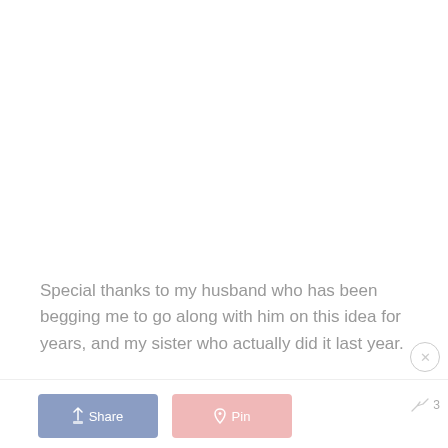Special thanks to my husband who has been begging me to go along with him on this idea for years, and my sister who actually did it last year.
Share  Pin  3